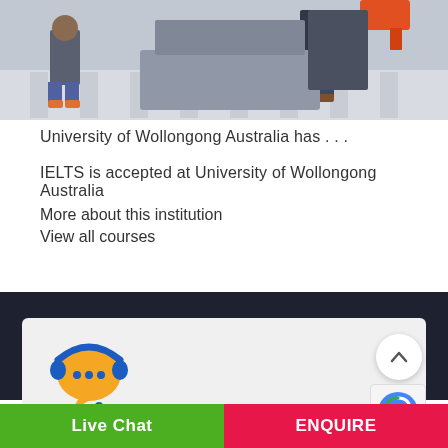[Figure (photo): Photo of people working with equipment, likely in a university workshop or laboratory setting, partially cropped at top of page.]
University of Wollongong Australia has . . .
IELTS is accepted at University of Wollongong Australia
More about this institution
View all courses
[Figure (illustration): Customer support / live chat icon: yellow speech bubble with three dots and blue headset]
Live Chat  ENQUIRE